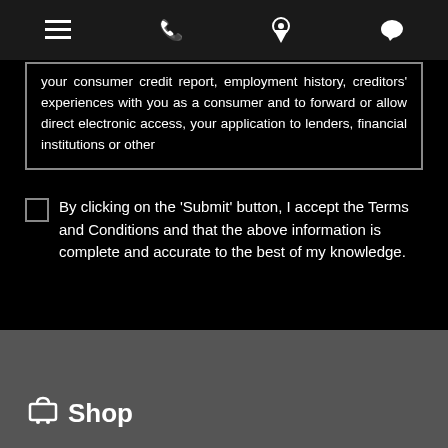[Figure (other): Top navigation bar with hamburger menu, phone, location pin, and chat bubble icons]
your consumer credit report, employment history, creditors' experiences with you as a consumer and to forward or allow direct electronic access, your application to lenders, financial institutions or other
By clicking on the 'Submit' button, I accept the Terms and Conditions and that the above information is complete and accurate to the best of my knowledge.
Submit
Shop